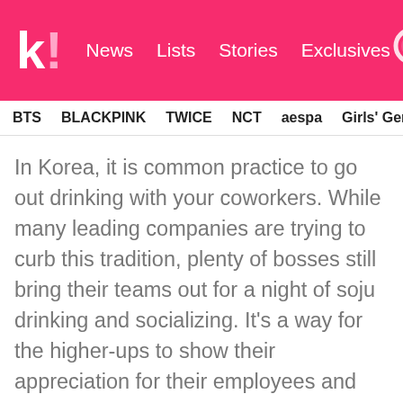k! News Lists Stories Exclusives
BTS BLACKPINK TWICE NCT aespa Girls' Generation
In Korea, it is common practice to go out drinking with your coworkers. While many leading companies are trying to curb this tradition, plenty of bosses still bring their teams out for a night of soju drinking and socializing. It's a way for the higher-ups to show their appreciation for their employees and drinking is also seen as a way of loosening up and bonding with the people around you. This can sometimes be problematic for people who can't or do not like to drink alcohol if the people around them are not understanding. Luckily, nowadays, non-drinkers are far more common and accepted